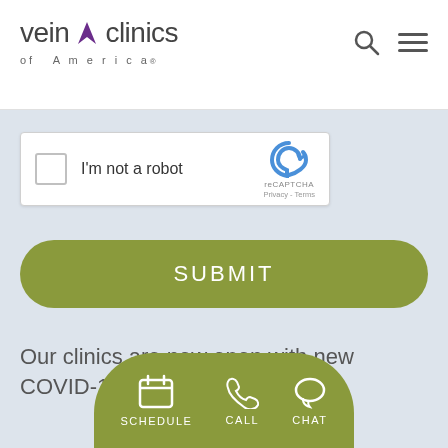[Figure (logo): Vein Clinics of America logo with search and hamburger menu icons in website header]
[Figure (screenshot): reCAPTCHA widget with checkbox labeled 'I'm not a robot' and reCAPTCHA logo with Privacy and Terms links]
[Figure (screenshot): Green pill-shaped SUBMIT button]
Our clinics are now open with new COVID-19 Health & Sa...
[Figure (screenshot): Green pill-shaped action bar with SCHEDULE, CALL, and CHAT icons and labels]